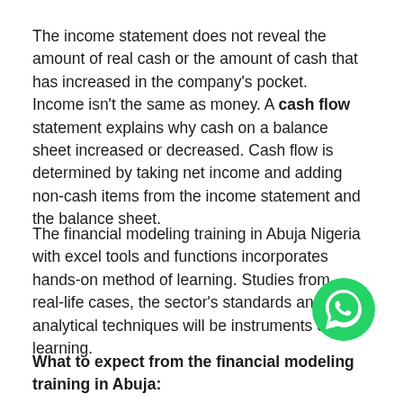The income statement does not reveal the amount of real cash or the amount of cash that has increased in the company's pocket. Income isn't the same as money. A cash flow statement explains why cash on a balance sheet increased or decreased. Cash flow is determined by taking net income and adding non-cash items from the income statement and the balance sheet.
The financial modeling training in Abuja Nigeria with excel tools and functions incorporates hands-on method of learning. Studies from real-life cases, the sector's standards and analytical techniques will be instruments of learning.
What to expect from the financial modeling training in Abuja: